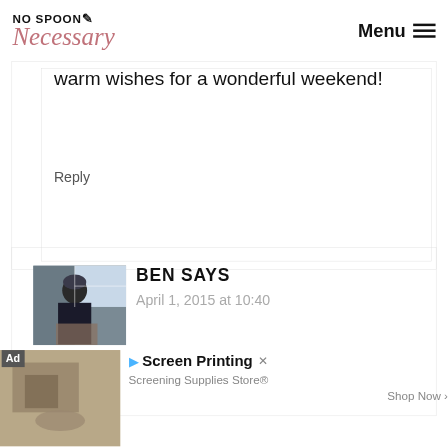[Figure (logo): No Spoon Necessary blog logo with cursive text and icon]
Menu
warm wishes for a wonderful weekend!
Reply
BEN SAYS
April 1, 2015 at 10:40
[Figure (photo): Photo of Ben, person sitting at a window]
Ad Screen Printing Screening Supplies Store® Shop Now